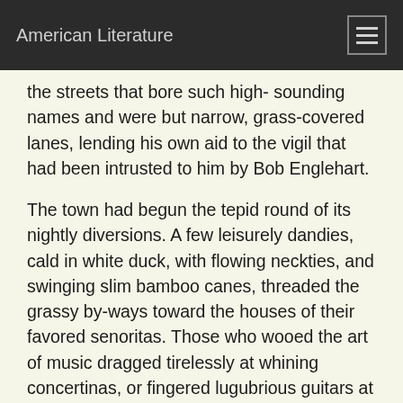American Literature
the streets that bore such high- sounding names and were but narrow, grass-covered lanes, lending his own aid to the vigil that had been intrusted to him by Bob Englehart.
The town had begun the tepid round of its nightly diversions. A few leisurely dandies, cald in white duck, with flowing neckties, and swinging slim bamboo canes, threaded the grassy by-ways toward the houses of their favored senoritas. Those who wooed the art of music dragged tirelessly at whining concertinas, or fingered lugubrious guitars at doors and windows. An occasional soldier from the ~cuartel~, with flapping straw hat, without coat or